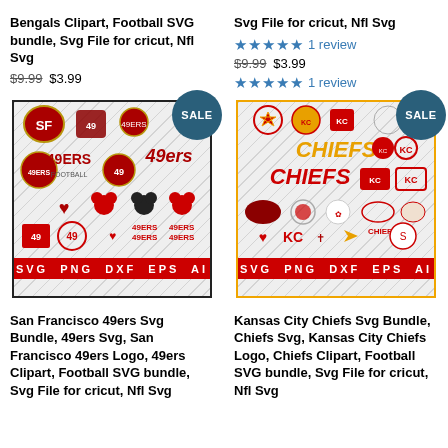Bengals Clipart, Football SVG bundle, Svg File for cricut, Nfl Svg
$9.99 $3.99
Svg File for cricut, Nfl Svg
1 review
$9.99 $3.99
1 review
[Figure (illustration): San Francisco 49ers SVG bundle product image with various 49ers logos, Mickey Mouse themed graphics, and format bar showing SVG PNG DXF EPS AI. Has a SALE badge.]
[Figure (illustration): Kansas City Chiefs SVG bundle product image with various Chiefs logos, character graphics, and format bar showing SVG PNG DXF EPS AI. Has a SALE badge.]
San Francisco 49ers Svg Bundle, 49ers Svg, San Francisco 49ers Logo, 49ers Clipart, Football SVG bundle, Svg File for cricut, Nfl Svg
Kansas City Chiefs Svg Bundle, Chiefs Svg, Kansas City Chiefs Logo, Chiefs Clipart, Football SVG bundle, Svg File for cricut, Nfl Svg